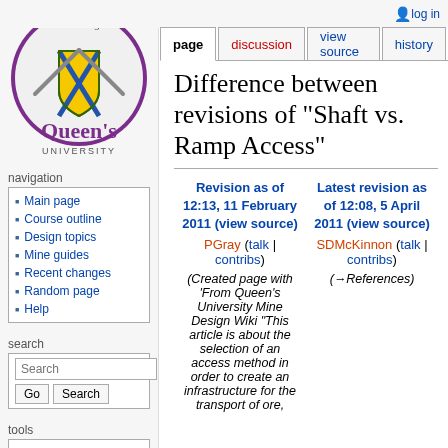log in
page | discussion | view source | history
[Figure (logo): MineDesign Queen's University logo with shield and mining tools]
navigation
Main page
Course outline
Design topics
Mine guides
Recent changes
Random page
Help
search
tools
What links here
Related changes
Difference between revisions of "Shaft vs. Ramp Access"
| Revision as of 12:13, 11 February 2011 (view source) | Latest revision as of 12:08, 5 April 2011 (view source) |
| --- | --- |
| PGray (talk | contribs) | SDMcKinnon (talk | contribs) |
| (Created page with 'From Queen's University Mine Design Wiki "This article is about the selection of an access method in order to create an infrastructure for the transport of ore, | (→References) |